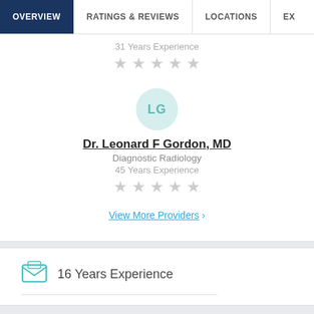OVERVIEW | RATINGS & REVIEWS | LOCATIONS | EX
31 Years Experience
[Figure (other): 5 empty gray star rating icons]
[Figure (other): Avatar circle with initials LG in teal]
Dr. Leonard F Gordon, MD
Diagnostic Radiology
45 Years Experience
[Figure (other): 5 empty gray star rating icons]
View More Providers >
[Figure (other): Envelope/briefcase icon in teal outline]
16 Years Experience